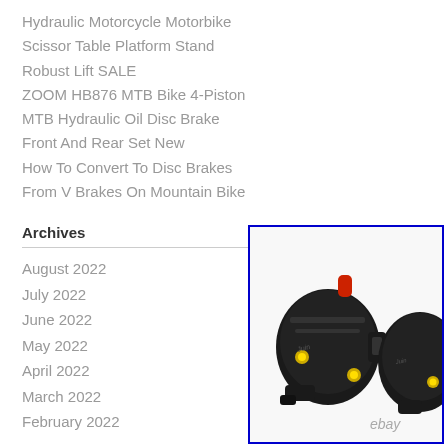Hydraulic Motorcycle Motorbike
Scissor Table Platform Stand
Robust Lift SALE
ZOOM HB876 MTB Bike 4-Piston
MTB Hydraulic Oil Disc Brake
Front And Rear Set New
How To Convert To Disc Brakes
From V Brakes On Mountain Bike
Archives
August 2022
July 2022
June 2022
May 2022
April 2022
March 2022
February 2022
[Figure (photo): Two black MTB hydraulic disc brake calipers (Juin Tech brand) shown side by side against a white background, with yellow accent bolts and a red hose fitting visible. eBay watermark at bottom right.]